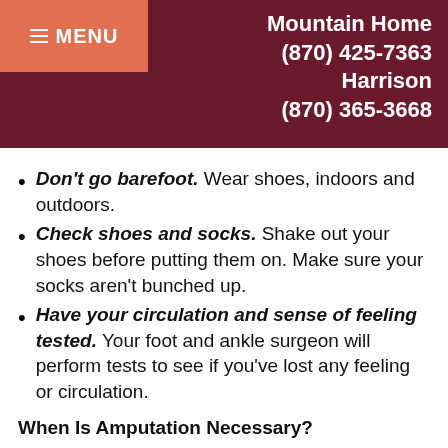Mountain Home (870) 425-7363 Harrison (870) 365-3668
Don't go barefoot. Wear shoes, indoors and outdoors.
Check shoes and socks. Shake out your shoes before putting them on. Make sure your socks aren't bunched up.
Have your circulation and sense of feeling tested. Your foot and ankle surgeon will perform tests to see if you've lost any feeling or circulation.
When Is Amputation Necessary?
Even with preventative care and prompt treatment of infection and complications, there are instances when